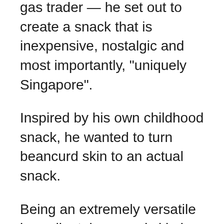gas trader — he set out to create a snack that is inexpensive, nostalgic and most importantly, “uniquely Singapore”.
Inspired by his own childhood snack, he wanted to turn beancurd skin to an actual snack.
Being an extremely versatile ingredient, beancurd skin is used in many of Asian dishes like yong tau foo, dim sum and inari. He wants to take this traditional ingredient and give it a modern twist so that people of all ages can enjoy it.
“We want to bring centrestage this widely-loved ingredient that has always been on the sidelines,” …